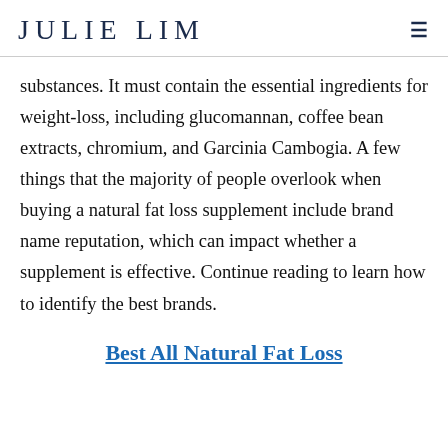JULIE LIM
substances. It must contain the essential ingredients for weight-loss, including glucomannan, coffee bean extracts, chromium, and Garcinia Cambogia. A few things that the majority of people overlook when buying a natural fat loss supplement include brand name reputation, which can impact whether a supplement is effective. Continue reading to learn how to identify the best brands.
Best All Natural Fat Loss